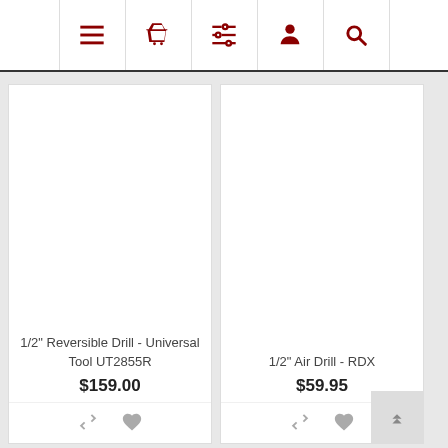[Figure (screenshot): Navigation bar with 5 icon buttons: hamburger menu, shopping basket, filter/list, user/person, and search magnifier, all in dark red color]
1/2" Reversible Drill - Universal Tool UT2855R
$159.00
[Figure (illustration): Product action icons: compare arrows and heart/wishlist]
1/2" Air Drill - RDX
$59.95
[Figure (illustration): Product action icons: compare arrows and heart/wishlist; back-to-top chevron button]